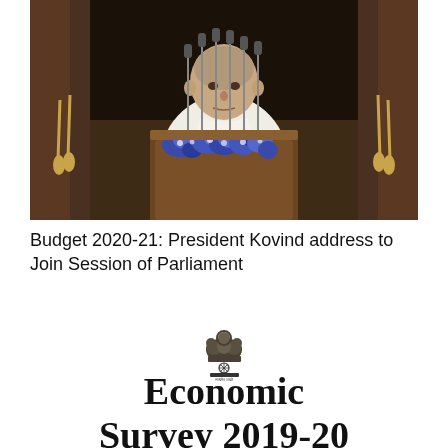[Figure (photo): President Kovind standing at a podium with multiple microphones and blue flower arrangements, addressing a joint session of Parliament. Dark wooden background.]
Budget 2020-21: President Kovind address to Join Session of Parliament
[Figure (logo): Emblem of India (Ashoka Lion Capital) with text below in Devanagari script]
Economic Survey 2019-20